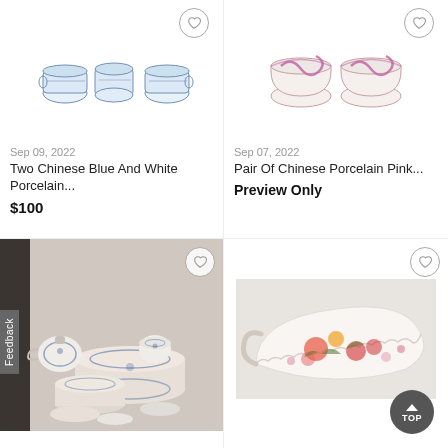[Figure (photo): Three Chinese blue and white porcelain pieces in a row]
Sep 09, 2022
Two Chinese Blue And White Porcelain...
$100
[Figure (photo): Pair of Chinese porcelain pink decorated bowls/cups]
Sep 07, 2022
Pair Of Chinese Porcelain Pink...
Preview Only
[Figure (photo): Large collection of Chinese blue and white porcelain dinnerware set]
[Figure (photo): Chinese porcelain decorative sauceboat with floral decoration]